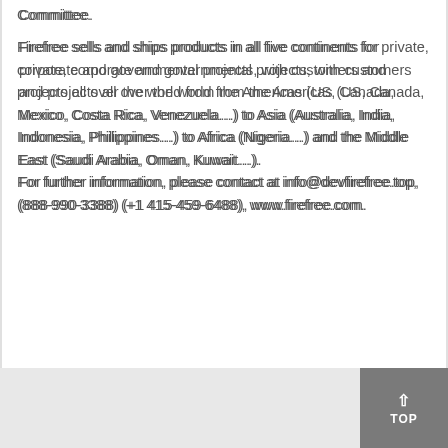Committee.
Firefree sells and ships products in all five continents for private, corporate and governmental projects, with customers and projects all over the world from the Americas (US, Canada, Mexico, Costa Rica, Venezuela…) to Asia (Australia, India, Indonesia, Philippines…) to Africa (Nigeria…) and the Middle East (Saudi Arabia, Oman, Kuwait…). For further information, please contact at info@devfirefree.top, (888-990-3388) (+1 415-459-6488), www.firefree.com.
TOP